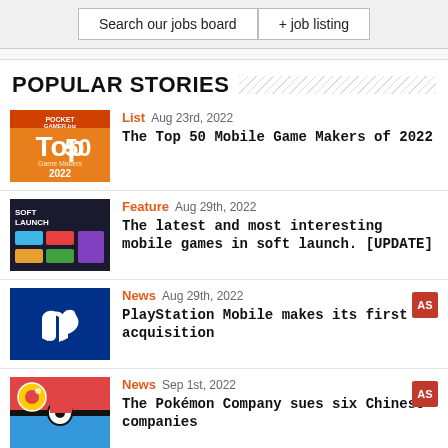Search our jobs board | + job listing
POPULAR STORIES
List Aug 23rd, 2022 — The Top 50 Mobile Game Makers of 2022
Feature Aug 29th, 2022 — The latest and most interesting mobile games in soft launch. [UPDATE]
News Aug 29th, 2022 — PlayStation Mobile makes its first acquisition
News Sep 1st, 2022 — The Pokémon Company sues six Chinese companies
News Aug 31st, 2022 — NetEase and Alibaba among first in line for US audit inspection
VIDEOS